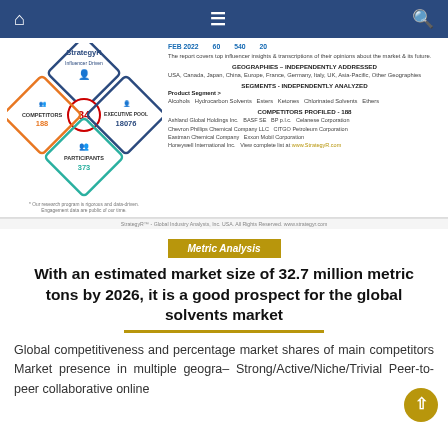Navigation bar with home, menu, and search icons
[Figure (infographic): StrategyR Influencer Driven diamond logo with stats: 34 (center), Competitors 188, Executive Pool 18076, Participants 373]
FEB 2022   60   540   20
The report covers top influencer insights & transcriptions of their opinions about the market & its future.
GEOGRAPHIES – INDEPENDENTLY ADDRESSED
USA, Canada, Japan, China, Europe, France, Germany, Italy, UK, Asia-Pacific, Other Geographies
SEGMENTS - INDEPENDENTLY ANALYZED
Product Segment >
Alcohols  Hydrocarbon Solvents  Esters  Ketones  Chlorinated Solvents  Ethers
COMPETITORS PROFILED - 188
Ashland Global Holdings Inc.  BASF SE  BP p.l.c.  Celanese Corporation  Chevron Phillips Chemical Company LLC  CITGO Petroleum Corporation  Eastman Chemical Company  Exxon Mobil Corporation  Honeywell International Inc.  View complete list at www.StrategyR.com
StrategyR™ - Global Industry Analysts, Inc. USA. All Rights Reserved. www.strategyr.com
Metric Analysis
With an estimated market size of 32.7 million metric tons by 2026, it is a good prospect for the global solvents market
Global competitiveness and percentage market shares of main competitors Market presence in multiple geographies – Strong/Active/Niche/Trivial Peer-to-peer collaborative online